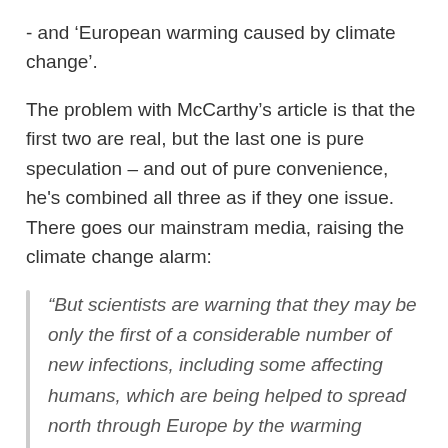- and ‘European warming caused by climate change’.
The problem with McCarthy’s article is that the first two are real, but the last one is pure speculation – and out of pure convenience, he’s combined all three as if they one issue. There goes our mainstram media, raising the climate change alarm:
“But scientists are warning that they may be only the first of a considerable number of new infections, including some affecting humans, which are being helped to spread north through Europe by the warming climate.”
Unfortunately, this tired practice of cheap conflation will